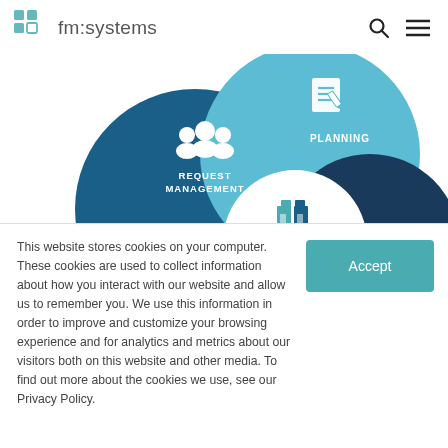fm:systems
[Figure (infographic): Circular Venn-style diagram showing three overlapping circles labeled REQUEST MANAGEMENT (dark blue, with people icon), PLANNING (light blue/teal, with document/pen icon), and MOVE PROCESS (white center, with building/box icon). A dark blue arc on the right shows a gear icon. The circles overlap to show integrated move management process.]
This website stores cookies on your computer. These cookies are used to collect information about how you interact with our website and allow us to remember you. We use this information in order to improve and customize your browsing experience and for analytics and metrics about our visitors both on this website and other media. To find out more about the cookies we use, see our Privacy Policy.